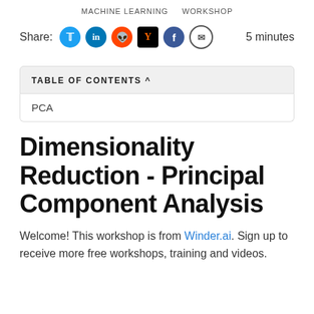MACHINE LEARNING   WORKSHOP
Share:   5 minutes
TABLE OF CONTENTS ^
PCA
Dimensionality Reduction - Principal Component Analysis
Welcome! This workshop is from Winder.ai. Sign up to receive more free workshops, training and videos.